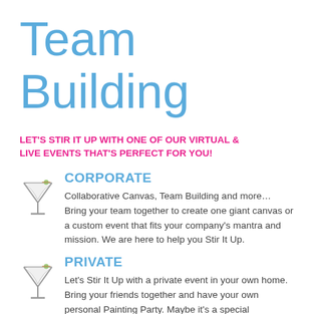Team Building
LET'S STIR IT UP WITH ONE OF OUR VIRTUAL & LIVE EVENTS THAT'S PERFECT FOR YOU!
CORPORATE
Collaborative Canvas, Team Building and more… Bring your team together to create one giant canvas or a custom event that fits your company's mantra and mission. We are here to help you Stir It Up.
PRIVATE
Let's Stir It Up with a private event in your own home. Bring your friends together and have your own personal Painting Party. Maybe it's a special